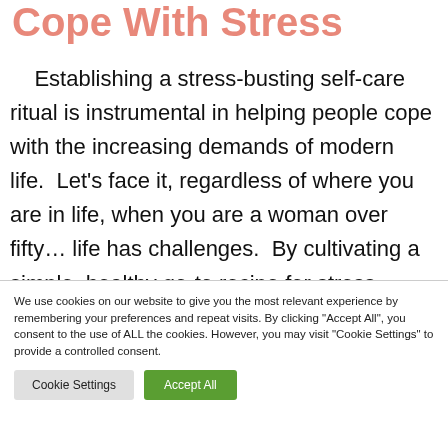Cope With Stress
Establishing a stress-busting self-care ritual is instrumental in helping people cope with the increasing demands of modern life.  Let's face it, regardless of where you are in life, when you are a woman over fifty… life has challenges.  By cultivating a simple, healthy go-to recipe for stress
We use cookies on our website to give you the most relevant experience by remembering your preferences and repeat visits. By clicking "Accept All", you consent to the use of ALL the cookies. However, you may visit "Cookie Settings" to provide a controlled consent.